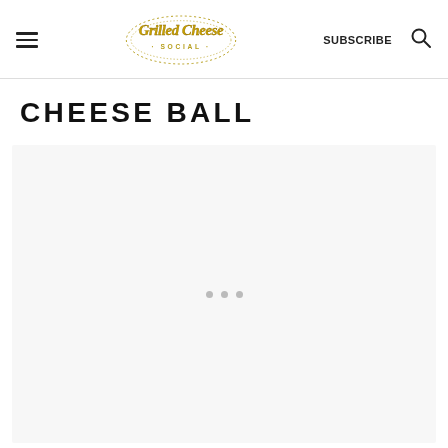Grilled Cheese Social — SUBSCRIBE
CHEESE BALL
[Figure (other): Large light gray placeholder content area with three small gray loading dots centered near the bottom]